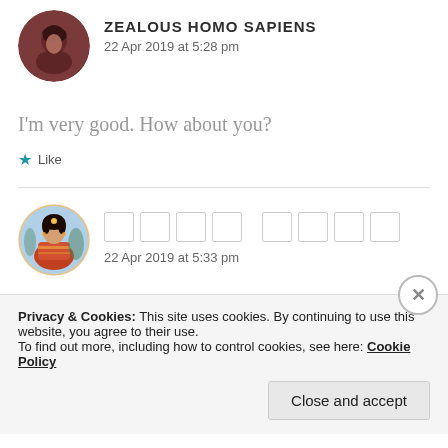[Figure (photo): Circular avatar of a person with dark hair, brownish-red toned photo]
ZEALOUS HOMO SAPIENS
22 Apr 2019 at 5:28 pm
I'm very good. How about you?
★ Like
[Figure (photo): Circular avatar of a person dressed in traditional Indian attire with jewelry]
□□□□ □□□□
22 Apr 2019 at 5:33 pm
Privacy & Cookies: This site uses cookies. By continuing to use this website, you agree to their use.
To find out more, including how to control cookies, see here: Cookie Policy
Close and accept